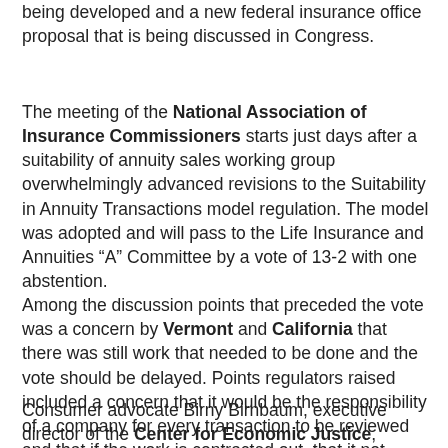being developed and a new federal insurance office proposal that is being discussed in Congress.
The meeting of the National Association of Insurance Commissioners starts just days after a suitability of annuity sales working group overwhelmingly advanced revisions to the Suitability in Annuity Transactions model regulation. The model was adopted and will pass to the Life Insurance and Annuities “A” Committee by a vote of 13-2 with one abstention. Among the discussion points that preceded the vote was a concern by Vermont and California that there was still work that needed to be done and the vote should be delayed. Points regulators raised included a concern that it would be the responsibility of a company for every transaction to be reviewed and that if the work is contracted out, that it not absolve a company from making sure that the work was completed. There was also concern that the definition of ‘recommendation’ was too narrow.
Consumer advocate Birny Birnbaum, executive director of the Center for Economic Justice, Austin, Texas, asked that